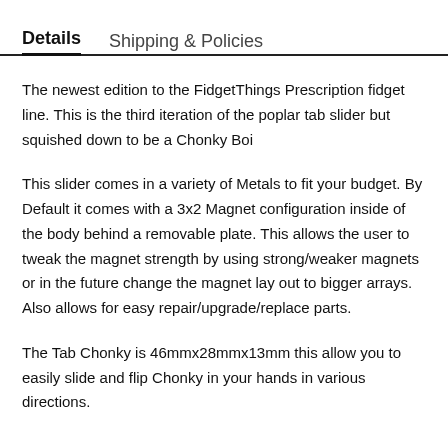Details    Shipping & Policies
The newest edition to the FidgetThings Prescription fidget line. This is the third iteration of the poplar tab slider but squished down to be a Chonky Boi
This slider comes in a variety of Metals to fit your budget. By Default it comes with a 3x2 Magnet configuration inside of the body behind a removable plate. This allows the user to tweak the magnet strength by using strong/weaker magnets or in the future change the magnet lay out to bigger arrays. Also allows for easy repair/upgrade/replace parts.
The Tab Chonky is 46mmx28mmx13mm this allow you to easily slide and flip Chonky in your hands in various directions.